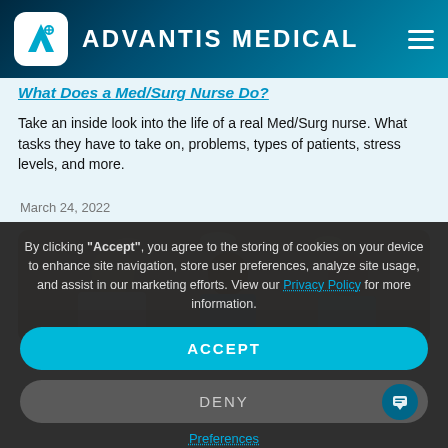ADVANTIS MEDICAL
What Does a Med/Surg Nurse Do?
Take an inside look into the life of a real Med/Surg nurse. What tasks they have to take on, problems, types of patients, stress levels, and more.
March 24, 2022
[Figure (photo): Medical professionals in scrubs at a hospital nursing station, conversing and smiling.]
By clicking "Accept", you agree to the storing of cookies on your device to enhance site navigation, store user preferences, analyze site usage, and assist in our marketing efforts. View our Privacy Policy for more information.
ACCEPT
DENY
Preferences